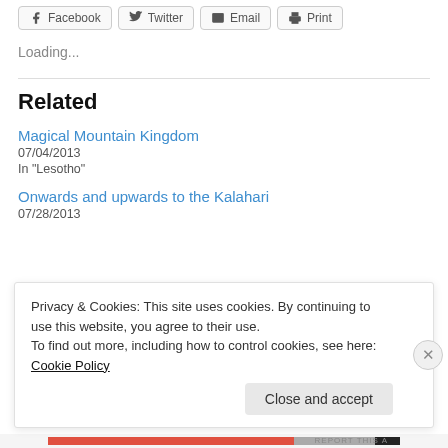[Figure (other): Social share buttons: Facebook, Twitter, Email, Print]
Loading...
Related
Magical Mountain Kingdom
07/04/2013
In "Lesotho"
Onwards and upwards to the Kalahari
07/28/2013
Privacy & Cookies: This site uses cookies. By continuing to use this website, you agree to their use.
To find out more, including how to control cookies, see here: Cookie Policy